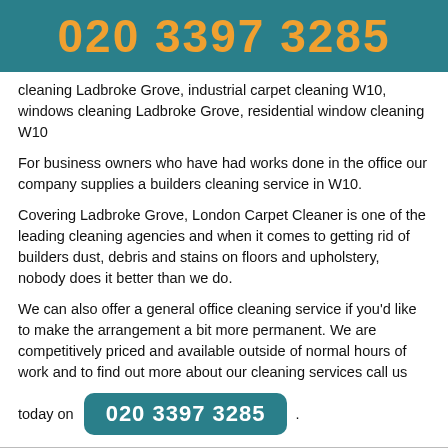020 3397 3285
cleaning Ladbroke Grove, industrial carpet cleaning W10, windows cleaning Ladbroke Grove, residential window cleaning W10
For business owners who have had works done in the office our company supplies a builders cleaning service in W10.
Covering Ladbroke Grove, London Carpet Cleaner is one of the leading cleaning agencies and when it comes to getting rid of builders dust, debris and stains on floors and upholstery, nobody does it better than we do.
We can also offer a general office cleaning service if you'd like to make the arrangement a bit more permanent. We are competitively priced and available outside of normal hours of work and to find out more about our cleaning services call us today on 020 3397 3285 .
[Figure (map): Map showing ARK ROYAL area, MAIDA VALE, and The Regent's Park]